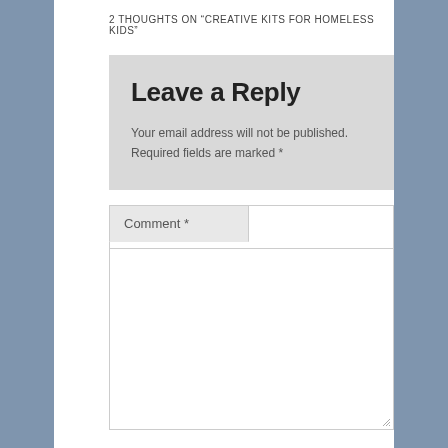2 THOUGHTS ON “CREATIVE KITS FOR HOMELESS KIDS”
Leave a Reply
Your email address will not be published.
Required fields are marked *
Comment *